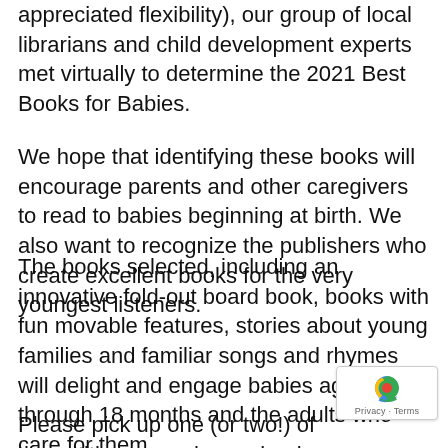appreciated flexibility), our group of local librarians and child development experts met virtually to determine the 2021 Best Books for Babies.
We hope that identifying these books will encourage parents and other caregivers to read to babies beginning at birth. We also want to recognize the publishers who create excellent books for the very youngest listeners.
The books selected, including an innovative fold-out board book, books with fun movable features, stories about young families and familiar songs and rhymes will delight and engage babies age birth through 18 months and the adults who care for them.
Please pick up one (or two!) of these titles soon choose books from previous Best Books for Babies